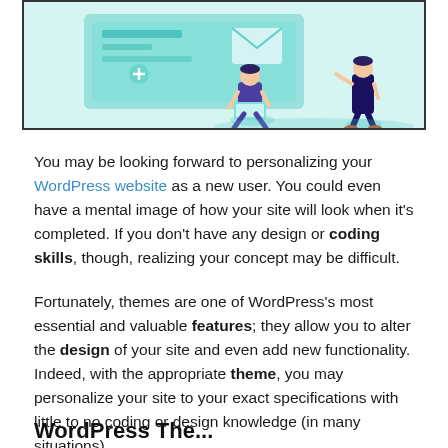[Figure (illustration): Illustration of people working on web design/development with a large monitor/screen showing a website interface. Light teal/cyan background with figures including a person sitting with a laptop and another standing figure.]
You may be looking forward to personalizing your WordPress website as a new user. You could even have a mental image of how your site will look when it's completed. If you don't have any design or coding skills, though, realizing your concept may be difficult.
Fortunately, themes are one of WordPress's most essential and valuable features; they allow you to alter the design of your site and even add new functionality. Indeed, with the appropriate theme, you may personalize your site to your exact specifications with little to no coding or design knowledge (in many situations).
WordPress The...